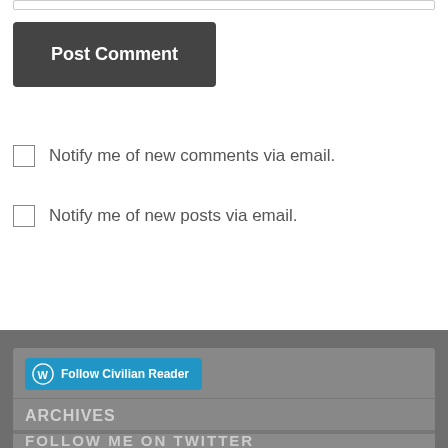(input bar at top)
Post Comment
Notify me of new comments via email.
Notify me of new posts via email.
Follow Civilian Reader
ARCHIVES
Select Month
FOLLOW ME ON TWITTER